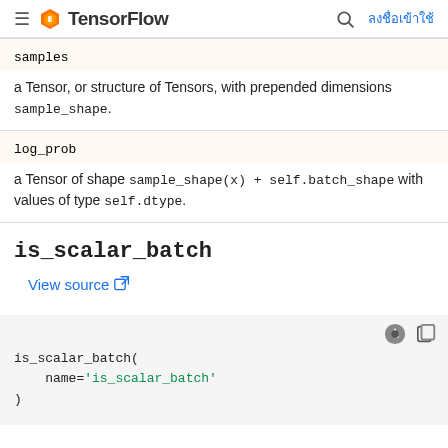TensorFlow
| samples | a Tensor, or structure of Tensors, with prepended dimensions sample_shape. |
| log_prob | a Tensor of shape sample_shape(x) + self.batch_shape with values of type self.dtype. |
is_scalar_batch
View source
is_scalar_batch(
    name='is_scalar_batch'
)